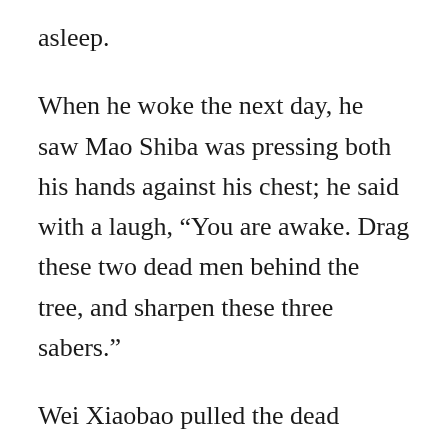asleep.
When he woke the next day, he saw Mao Shiba was pressing both his hands against his chest; he said with a laugh, “You are awake. Drag these two dead men behind the tree, and sharpen these three sabers.”
Wei Xiaobao pulled the dead bodies as told. The morning sun had just appeared, it was only now that he was able to see clearly: Mao Shiba was roughly forty years of age, his hands and arms were bulging with muscle, his eyes were bright, his expression was bold and powerful. He took the three sabers to a mountain stream nearby, dipped the saber into the water, and then sharpened it on a rock. He thought, “To deal with the salt smugglers, one saber is enough. Supposing this